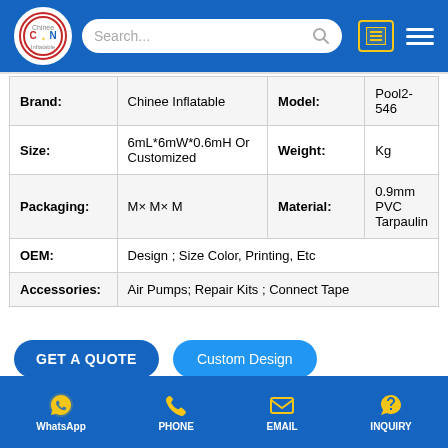[Figure (screenshot): Website header with Chinee Inflatable logo, search bar, list icon, and hamburger menu on blue background]
| Brand: | Chinee Inflatable | Model: | Pool2-546 |
| Size: | 6mL*6mW*0.6mH Or Customized | Weight: | Kg |
| Packaging: | M× M× M | Material: | 0.9mm PVC Tarpaulin |
| OEM: | Design ; Size Color, Printing, Etc |  |  |
| Accessories: | Air Pumps; Repair Kits ; Connect Tape |  |  |
[Figure (screenshot): Two buttons: GET A QUOTE and Custom Design on blue rounded rectangles]
WhatsApp  PHONE  EMAIL  INQUIRY